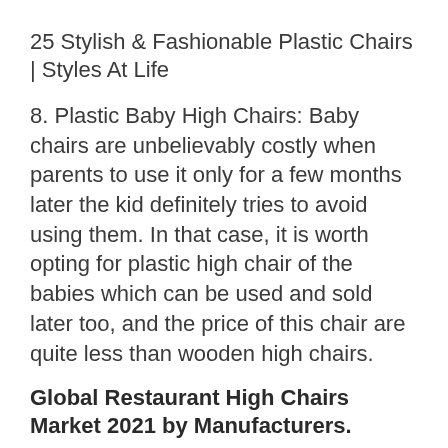25 Stylish & Fashionable Plastic Chairs | Styles At Life
8. Plastic Baby High Chairs: Baby chairs are unbelievably costly when parents to use it only for a few months later the kid definitely tries to avoid using them. In that case, it is worth opting for plastic high chair of the babies which can be used and sold later too, and the price of this chair are quite less than wooden high chairs.
Global Restaurant High Chairs Market 2021 by Manufacturers.
Figure 3. Wooden High Chair. Figure 4. Plastic High Chair. Figure 5. Global Restaurant High Chairs Sales Market Share by Application in 2020. Figure 6. Restaurant. Figure 7. Hotel. Figure 8. Other. Figure 9. Global Restaurant High Chairs Market